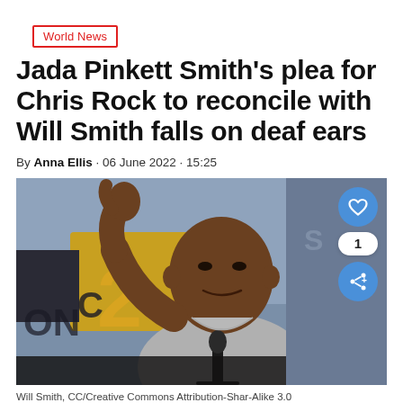World News
Jada Pinkett Smith's plea for Chris Rock to reconcile with Will Smith falls on deaf ears
By Anna Ellis · 06 June 2022 · 15:25
[Figure (photo): Will Smith giving thumbs up at what appears to be a Comic-Con event, with a microphone in front of him. Blue/grey background with Comic-Con signage. Floating like/share buttons overlay the right side.]
Will Smith, CC/Creative Commons Attribution-Shar-Alike 3.0